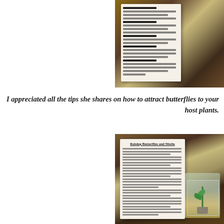[Figure (photo): Photograph of an open book showing pages with bullet points about attracting butterflies, placed on a wooden surface]
I appreciated all the tips she shares on how to attract butterflies to your host plants.
[Figure (photo): Photograph of an open book showing a chapter titled 'Raising Butterflies and Moths' with text and an image of a plant in a transparent container, on a wooden surface]